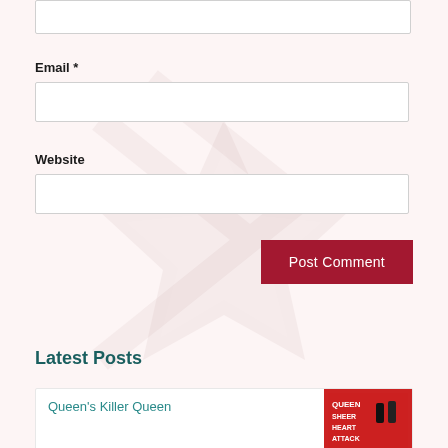Email *
Website
Post Comment
Latest Posts
Queen's Killer Queen